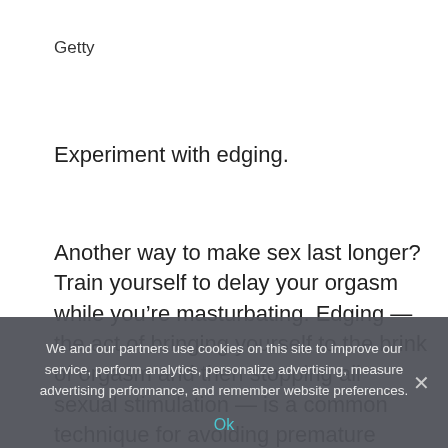Getty
Experiment with edging.
Another way to make sex last longer? Train yourself to delay your orgasm while you’re masturbating. Edging — the act of bringing yourself to the brink of orgasm and then stopping all sexual stimulation — is a common technique for avoiding premature ejaculation.
Lots of guys enjoy a vibrating sensation on their
We and our partners use cookies on this site to improve our service, perform analytics, personalize advertising, measure advertising performance, and remember website preferences.
Ok